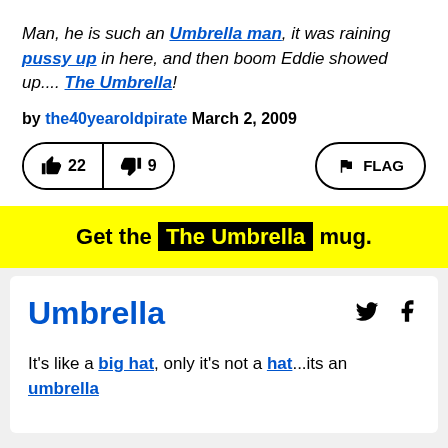Man, he is such an Umbrella man, it was raining pussy up in here, and then boom Eddie showed up.... The Umbrella!
by the40yearoldpirate March 2, 2009
[Figure (other): Vote buttons showing thumbs up 22 and thumbs down 9, and a FLAG button]
Get the The Umbrella mug.
Umbrella
It's like a big hat, only it's not a hat...its an umbrella